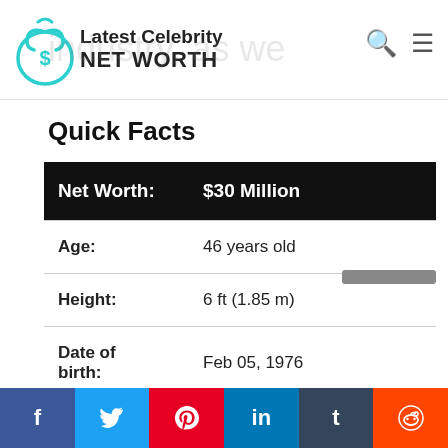Latest Celebrity NET WORTH
Quick Facts
| Net Worth: | $30 Million |
| --- | --- |
| Age: | 46 years old |
| Height: | 6 ft (1.85 m) |
| Date of birth: | Feb 05, 1976 |
| Nationality: | India |
|  | Actor, Presenter, Businessperson, Singer |
f  Twitter  Pinterest  in  Tumblr  Reddit